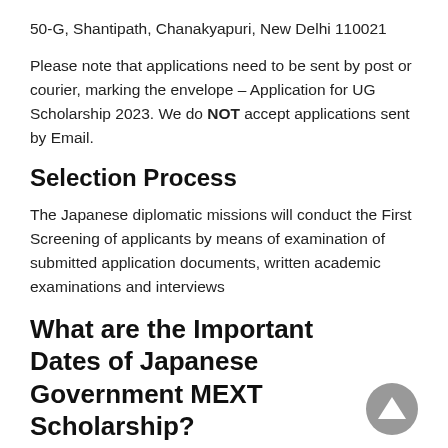50-G, Shantipath, Chanakyapuri, New Delhi 110021
Please note that applications need to be sent by post or courier, marking the envelope – Application for UG Scholarship 2023. We do NOT accept applications sent by Email.
Selection Process
The Japanese diplomatic missions will conduct the First Screening of applicants by means of examination of submitted application documents, written academic examinations and interviews
What are the Important Dates of Japanese Government MEXT Scholarship?